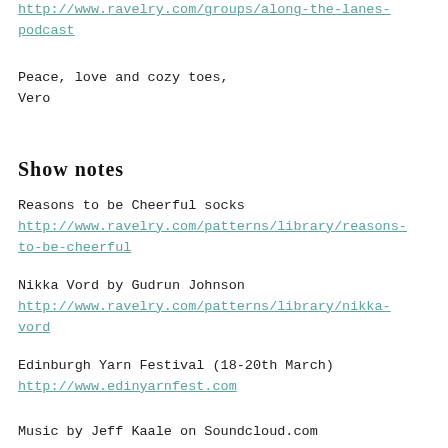http://www.ravelry.com/groups/along-the-lanes-podcast
Peace, love and cozy toes,
Vero
Show notes
Reasons to be Cheerful socks
http://www.ravelry.com/patterns/library/reasons-to-be-cheerful
Nikka Vord by Gudrun Johnson
http://www.ravelry.com/patterns/library/nikka-vord
Edinburgh Yarn Festival (18-20th March)
http://www.edinyarnfest.com
Music by Jeff Kaale on Soundcloud.com